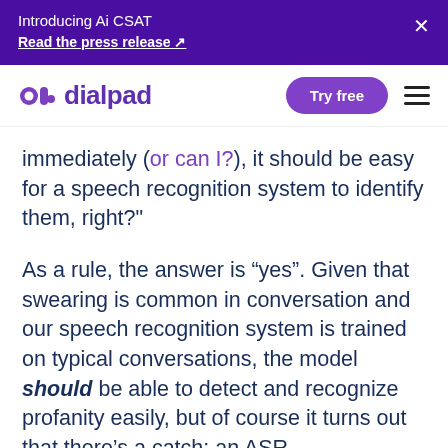Introducing Ai CSAT
Read the press release ↗
[Figure (logo): Dialpad logo with purple icon and wordmark, plus Try free button and hamburger menu]
immediately (or can I?), it should be easy for a speech recognition system to identify them, right?"
As a rule, the answer is “yes”. Given that swearing is common in conversation and our speech recognition system is trained on typical conversations, the model should be able to detect and recognize profanity easily, but of course it turns out that there’s a catch: an ASR